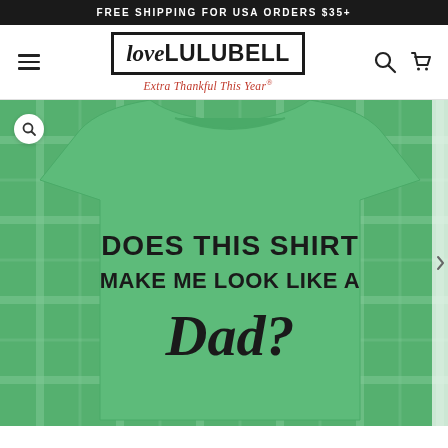FREE SHIPPING FOR USA ORDERS $35+
[Figure (logo): Love Lulubell logo with italic 'love' and bold 'LULUBELL' in a black bordered box, with red cursive tagline 'Extra Thankful This Year®' below]
[Figure (photo): Product photo of a green t-shirt with the text 'DOES THIS SHIRT MAKE ME LOOK LIKE A Dad?' printed on it, laid on a green and white plaid background with black shoes visible]